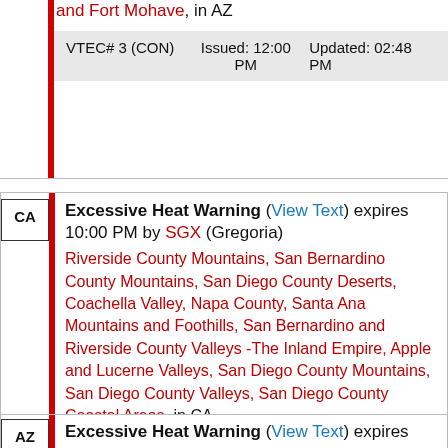and Fort Mohave, in AZ
| VTEC | Issued | Updated |
| --- | --- | --- |
| VTEC# 3 (CON) | Issued: 12:00 PM | Updated: 02:48 PM |
CA Excessive Heat Warning (View Text) expires 10:00 PM by SGX (Gregoria)
Riverside County Mountains, San Bernardino County Mountains, San Diego County Deserts, Coachella Valley, Napa County, Santa Ana Mountains and Foothills, San Bernardino and Riverside County Valleys -The Inland Empire, Apple and Lucerne Valleys, San Diego County Mountains, San Diego County Valleys, San Diego County Coastal Areas, in CA
| VTEC | Issued | Updated |
| --- | --- | --- |
| VTEC# 5 (CON) | Issued: 12:00 PM | Updated: 03:07 PM |
AZ Excessive Heat Warning (View Text) expires